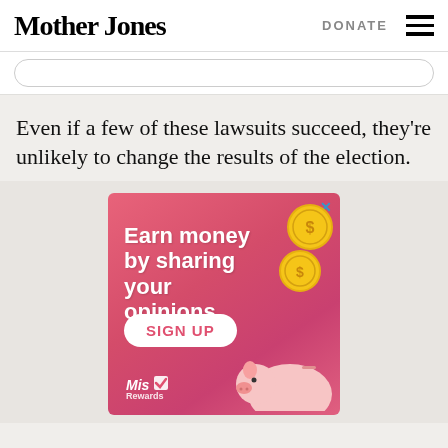Mother Jones
Even if a few of these lawsuits succeed, they're unlikely to change the results of the election.
[Figure (illustration): Advertisement banner with pink/red gradient background showing 'Earn money by sharing your opinions' with gold coin illustrations, a piggy bank graphic, a white oval SIGN UP button in pink text, and a MisRewards logo at the bottom. A blue X close button appears in the top right corner.]